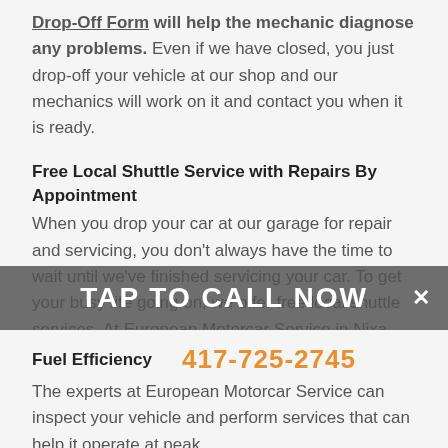Drop-Off Form will help the mechanic diagnose any problems. Even if we have closed, you just drop-off your vehicle at our shop and our mechanics will work on it and contact you when it is ready.
Free Local Shuttle Service with Repairs By Appointment
When you drop your car at our garage for repair and servicing, you don't always have the time to wait until we've finished servicing your car. To get your busy life going on, we offer free local shuttle services. At European Motorcar Service in Nixa, MO 65714, we offer free local shuttle services to our customers. This service allows you to conveniently go back to your day's routine as we work on your vehicle - you don't have to wait at the shop.
This service is by appointment.
TAP TO CALL NOW
Fuel Efficiency
417-725-2745
The experts at European Motorcar Service can inspect your vehicle and perform services that can help it operate at peak